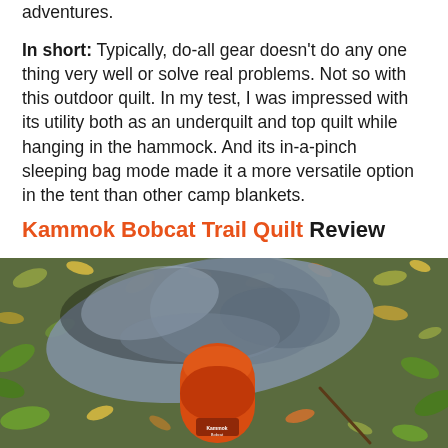adventures.
In short: Typically, do-all gear doesn't do any one thing very well or solve real problems. Not so with this outdoor quilt. In my test, I was impressed with its utility both as an underquilt and top quilt while hanging in the hammock. And its in-a-pinch sleeping bag mode made it a more versatile option in the tent than other camp blankets.
Kammok Bobcat Trail Quilt Review
[Figure (photo): Photo of a gray down quilt partially stuffed into an orange cylindrical stuff sack, lying on a bed of autumn leaves on the ground.]